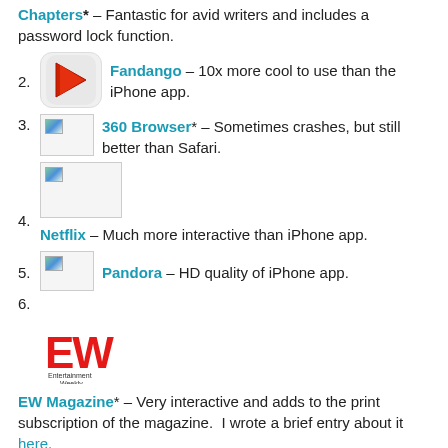Chapters* – Fantastic for avid writers and includes a password lock function.
2. Fandango – 10x more cool to use than the iPhone app.
3. 360 Browser* – Sometimes crashes, but still better than Safari.
4. Netflix – Much more interactive than iPhone app.
5. Pandora – HD quality of iPhone app.
6. EW Magazine* – Very interactive and adds to the print subscription of the magazine. I wrote a brief entry about it here.
7.